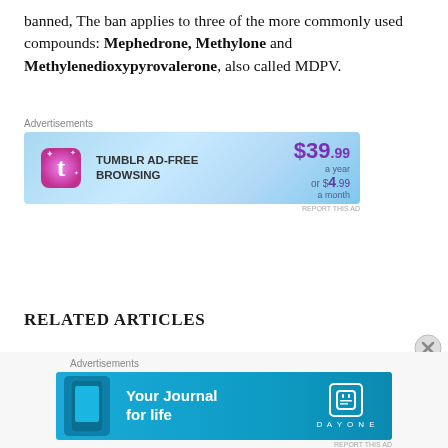banned, The ban applies to three of the more commonly used compounds: Mephedrone, Methylone and Methylenedioxypyrovalerone, also called MDPV.
[Figure (infographic): Tumblr Ad-Free Browsing advertisement banner: $39.99 a year or $4.99 a month, with Tumblr logo on light blue gradient background]
RELATED ARTICLES
Proposed Bans On Bath Salts
[Figure (infographic): Day One 'Your Journal for life' advertisement banner on teal/blue background with phone mockup and DAY ONE logo]